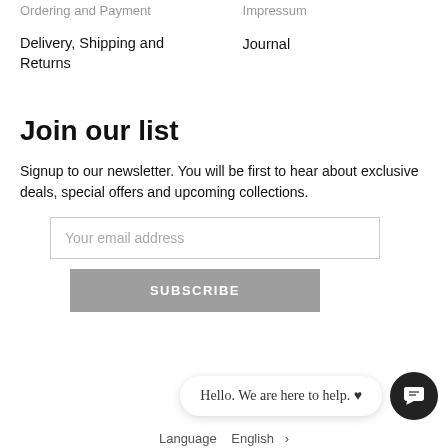Ordering and Payment
Impressum
Delivery, Shipping and Returns
Journal
Join our list
Signup to our newsletter. You will be first to hear about exclusive deals, special offers and upcoming collections.
Your email address
SUBSCRIBE
Hello. We are here to help. ♥
Language    English